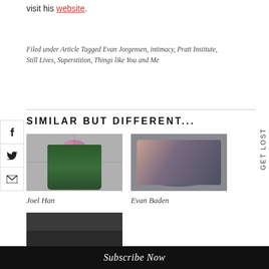visit his website.
Filed under Article Tagged Evan Jorgensen, intimacy, Pratt Institute, Still Lives, Superstition, Things like You and Me
SIMILAR BUT DIFFERENT...
[Figure (photo): Photo thumbnail for Joel Han article - green trash can on tiled floor]
Joel Han
[Figure (photo): Photo thumbnail for Evan Baden article - person lying down]
Evan Baden
[Figure (photo): Photo thumbnail - dark textured image, partially visible]
Subscribe Now